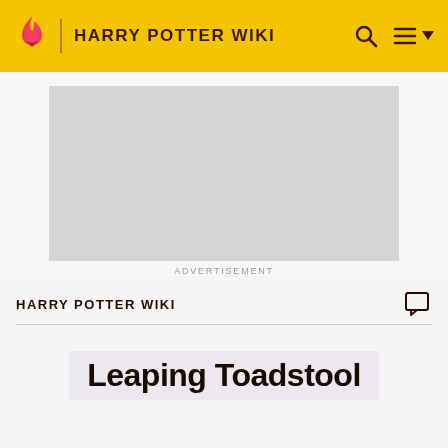HARRY POTTER WIKI
[Figure (other): Advertisement placeholder box (grey rectangle)]
ADVERTISEMENT
HARRY POTTER WIKI
Leaping Toadstool